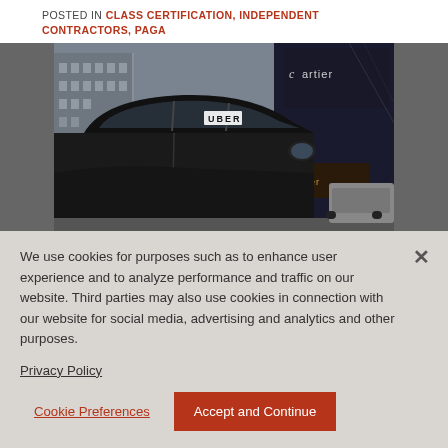POSTED IN CLASS CERTIFICATION, INDEPENDENT CONTRACTORS, PAGA
[Figure (photo): Photo of a black Uber vehicle on a city street with tall buildings and a Cartier store sign visible in the background]
We use cookies for purposes such as to enhance user experience and to analyze performance and traffic on our website. Third parties may also use cookies in connection with our website for social media, advertising and analytics and other purposes.
Privacy Policy
Cookie Preferences
Accept and Continue